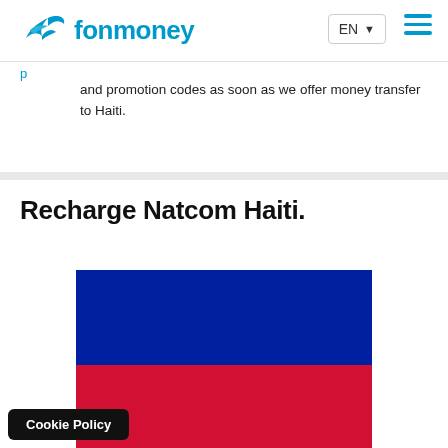fonmoney — EN (language selector) — hamburger menu
and promotion codes as soon as we offer money transfer to Haiti.
Recharge Natcom Haiti.
[Figure (illustration): Haiti flag: blue horizontal stripe on top, red horizontal stripe on bottom]
Cookie Policy